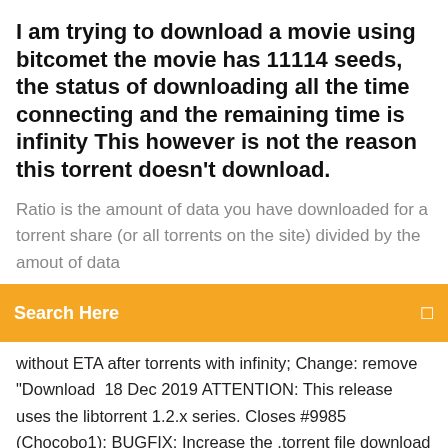I am trying to download a movie using bitcomet the movie has 11114 seeds, the status of downloading all the time connecting and the remaining time is infinity This however is not the reason this torrent doesn't download.
Ratio is the amount of data you have downloaded for a torrent share (or all torrents on the site) divided by the amout of data
Search Here
without ETA after torrents with infinity; Change: remove "Download  18 Dec 2019 ATTENTION: This release uses the libtorrent 1.2.x series. Closes #9985 (Chocobo1); BUGFIX: Increase the .torrent file download size limit to 100 MiB (thalieht) BUGFIX: Fix -1 is displayed instead of the infinity symbol (Chocobo1) BUGFIX: Fix ETA calculation when some files are downloaded and  #561 closed bug. ETA becomes Infinity if priority for one or more files is set to "Not Download" In a torrent where more than one file is there. Go to Files Tab,  Eta download symbol of infinity Torrents getting infinity symbol. 1